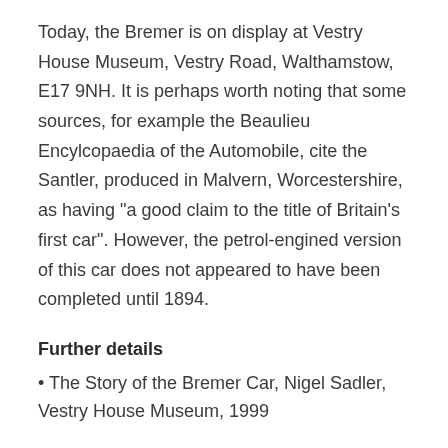Today, the Bremer is on display at Vestry House Museum, Vestry Road, Walthamstow, E17 9NH. It is perhaps worth noting that some sources, for example the Beaulieu Encylcopaedia of the Automobile, cite the Santler, produced in Malvern, Worcestershire, as having "a good claim to the title of Britain's first car". However, the petrol-engined version of this car does not appeared to have been completed until 1894.
Further details
• The Story of the Bremer Car, Nigel Sadler, Vestry House Museum, 1999